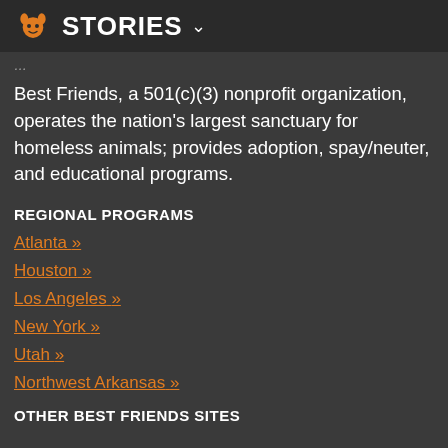STORIES
Best Friends, a 501(c)(3) nonprofit organization, operates the nation's largest sanctuary for homeless animals; provides adoption, spay/neuter, and educational programs.
REGIONAL PROGRAMS
Atlanta »
Houston »
Los Angeles »
New York »
Utah »
Northwest Arkansas »
OTHER BEST FRIENDS SITES